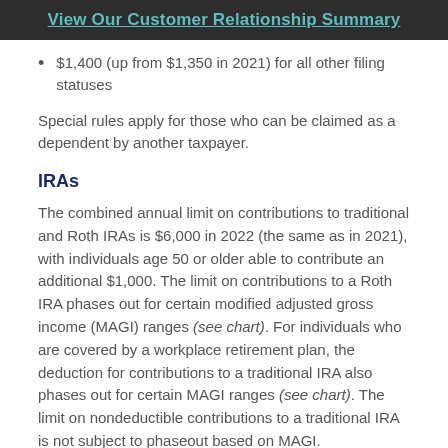View Our Customer Relationship Summary
$1,400 (up from $1,350 in 2021) for all other filing statuses
Special rules apply for those who can be claimed as a dependent by another taxpayer.
IRAs
The combined annual limit on contributions to traditional and Roth IRAs is $6,000 in 2022 (the same as in 2021), with individuals age 50 or older able to contribute an additional $1,000. The limit on contributions to a Roth IRA phases out for certain modified adjusted gross income (MAGI) ranges (see chart). For individuals who are covered by a workplace retirement plan, the deduction for contributions to a traditional IRA also phases out for certain MAGI ranges (see chart). The limit on nondeductible contributions to a traditional IRA is not subject to phaseout based on MAGI.